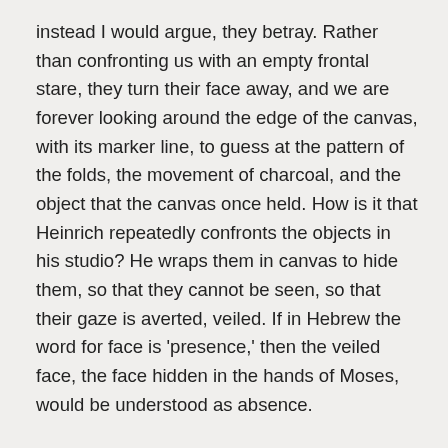instead I would argue, they betray. Rather than confronting us with an empty frontal stare, they turn their face away, and we are forever looking around the edge of the canvas, with its marker line, to guess at the pattern of the folds, the movement of charcoal, and the object that the canvas once held. How is it that Heinrich repeatedly confronts the objects in his studio? He wraps them in canvas to hide them, so that they cannot be seen, so that their gaze is averted, veiled. If in Hebrew the word for face is 'presence,' then the veiled face, the face hidden in the hands of Moses, would be understood as absence.